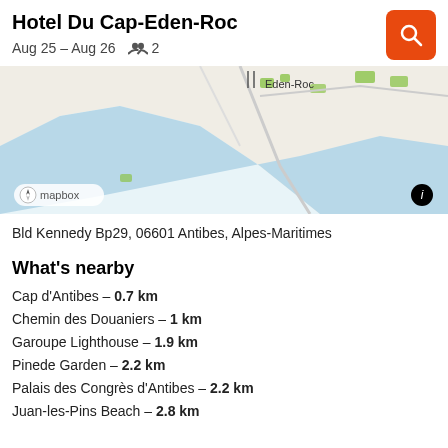Hotel Du Cap-Eden-Roc
Aug 25 – Aug 26   2
[Figure (map): Mapbox map showing coastal area near Eden-Roc, Cap d'Antibes, with blue sea, roads, and green areas. 'Eden-Roc' label visible on the map.]
Bld Kennedy Bp29, 06601 Antibes, Alpes-Maritimes
What's nearby
Cap d'Antibes – 0.7 km
Chemin des Douaniers – 1 km
Garoupe Lighthouse – 1.9 km
Pinede Garden – 2.2 km
Palais des Congrès d'Antibes – 2.2 km
Juan-les-Pins Beach – 2.8 km